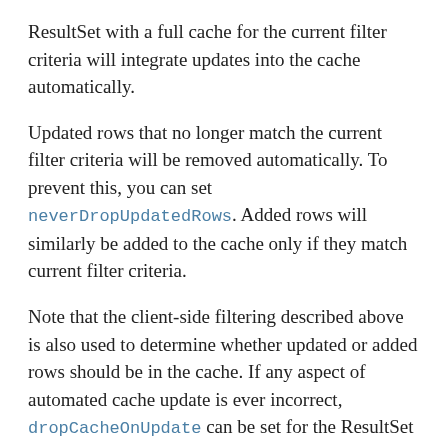ResultSet with a full cache for the current filter criteria will integrate updates into the cache automatically.
Updated rows that no longer match the current filter criteria will be removed automatically. To prevent this, you can set neverDropUpdatedRows. Added rows will similarly be added to the cache only if they match current filter criteria.
Note that the client-side filtering described above is also used to determine whether updated or added rows should be in the cache. If any aspect of automated cache update is ever incorrect, dropCacheOnUpdate can be set for the ResultSet or DSResponse.invalidateCache can be set for an individual dsResponse.
If automatic cache synchronization isn't working, troubleshoot the problem using the